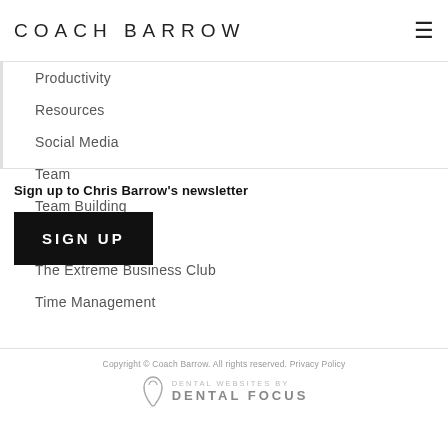COACH BARROW
Productivity
Resources
Social Media
Team
Team Building
Technology
The Extreme Business Club
Time Management
Sign up to Chris Barrow's newsletter
SIGN UP
Copyright © Coach Barrow. All rights reserved. Privacy Policy
DENTAL WEBSITES BY DENTAL FOCUS